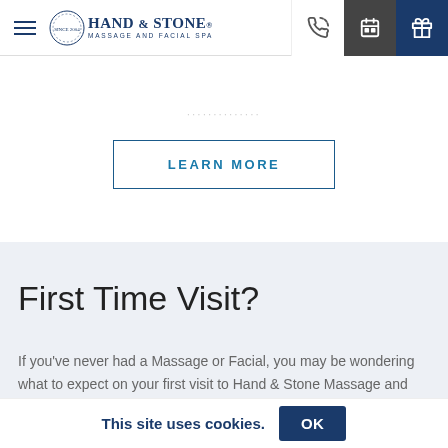Hand & Stone Massage and Facial Spa — navigation bar with hamburger menu, logo, phone, calendar, and gift icons
LEARN MORE
First Time Visit?
If you've never had a Massage or Facial, you may be wondering what to expect on your first visit to Hand & Stone Massage and Facial Spa.
This site uses cookies.  OK